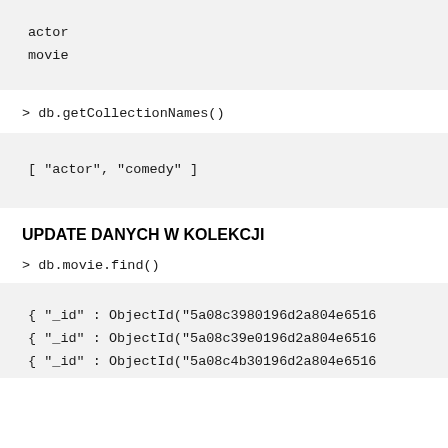actor
movie
> db.getCollectionNames()
[ "actor", "comedy" ]
UPDATE DANYCH W KOLEKCJI
> db.movie.find()
{ "_id" : ObjectId("5a08c3980196d2a804e6516
{ "_id" : ObjectId("5a08c39e0196d2a804e6516
{ "_id" : ObjectId("5a08c4b30196d2a804e6516